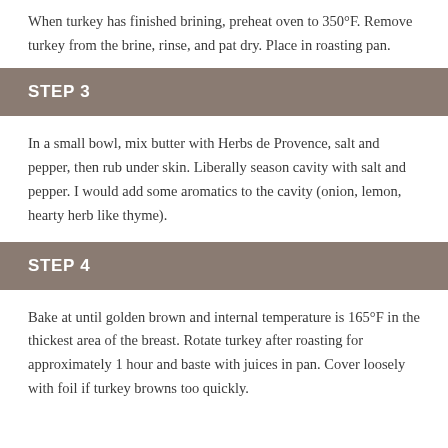When turkey has finished brining, preheat oven to 350°F. Remove turkey from the brine, rinse, and pat dry. Place in roasting pan.
STEP 3
In a small bowl, mix butter with Herbs de Provence, salt and pepper, then rub under skin. Liberally season cavity with salt and pepper. I would add some aromatics to the cavity (onion, lemon, hearty herb like thyme).
STEP 4
Bake at until golden brown and internal temperature is 165°F in the thickest area of the breast. Rotate turkey after roasting for approximately 1 hour and baste with juices in pan. Cover loosely with foil if turkey browns too quickly.